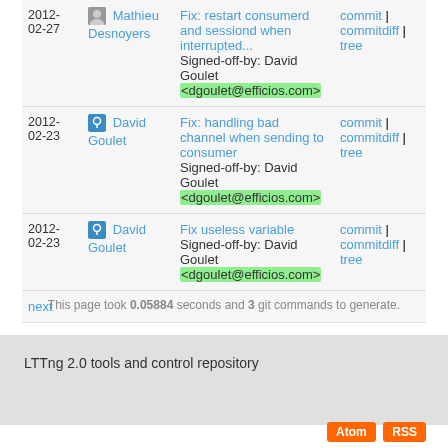| Date | Author | Message | Links |
| --- | --- | --- | --- |
| 2012-02-27 | Mathieu Desnoyers | Fix: restart consumerd and sessiond when interrupted...
Signed-off-by: David Goulet <dgoulet@efficios.com> | commit | commitdiff | tree |
| 2012-02-23 | David Goulet | Fix: handling bad channel when sending to consumer
Signed-off-by: David Goulet <dgoulet@efficios.com> | commit | commitdiff | tree |
| 2012-02-23 | David Goulet | Fix useless variable
Signed-off-by: David Goulet <dgoulet@efficios.com> | commit | commitdiff | tree |
next
This page took 0.05884 seconds and 3 git commands to generate.
LTTng 2.0 tools and control repository
Atom  RSS